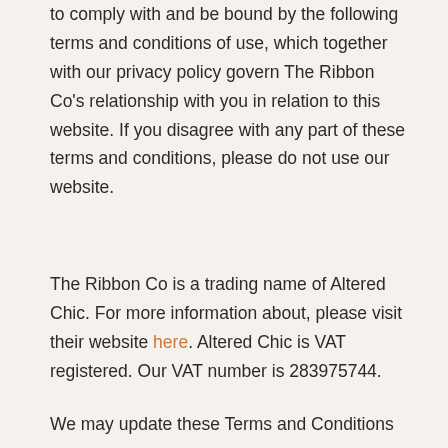to comply with and be bound by the following terms and conditions of use, which together with our privacy policy govern The Ribbon Co’s relationship with you in relation to this website. If you disagree with any part of these terms and conditions, please do not use our website.
The Ribbon Co is a trading name of Altered Chic. For more information about, please visit their website here. Altered Chic is VAT registered. Our VAT number is 283975744.
We may update these Terms and Conditions